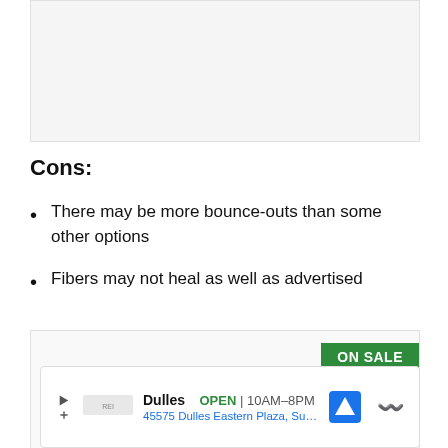[Figure (other): Top image placeholder area (gray/light background box)]
Cons:
There may be more bounce-outs than some other options
Fibers may not heal as well as advertised
[Figure (photo): Product image showing a Shot King dartboard with an 'ON SALE' green badge in the top right corner. The dartboard shows traditional segments with black, green, and red coloring.]
Dulles  OPEN | 10AM–8PM  45575 Dulles Eastern Plaza, Suite 171...